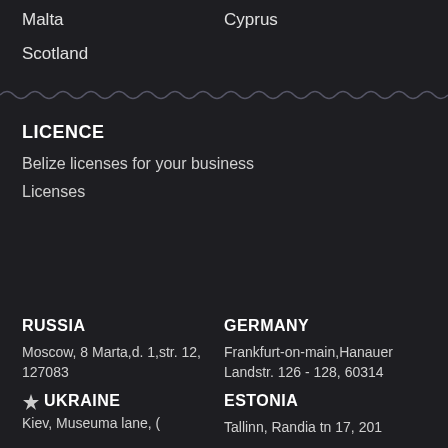Malta
Cyprus
Scotland
LICENCE
Belize licenses for your business
Licenses
RUSSIA
Moscow, 8 Marta,d. 1,str. 12, 127083
GERMANY
Frankfurt-on-main,Hanauer Landstr. 126 - 128, 60314
UKRAINE
ESTONIA
Kiev, Museuma lane, (partial)
Tallinn, Randia tn 17, 201 (partial)